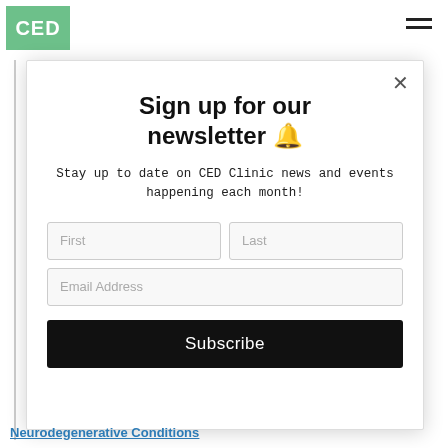[Figure (logo): CED Clinic logo — green square with white text 'CED']
Sign up for our newsletter 🔔
Stay up to date on CED Clinic news and events happening each month!
First | Last (form fields)
Email Address (form field)
Subscribe
Neurodegenerative Conditions